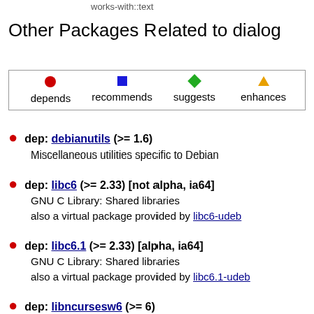works-with::text
Other Packages Related to dialog
[Figure (infographic): Legend box showing four dependency types: depends (red circle), recommends (blue square), suggests (green diamond), enhances (orange triangle)]
dep: debianutils (>= 1.6)
Miscellaneous utilities specific to Debian
dep: libc6 (>= 2.33) [not alpha, ia64]
GNU C Library: Shared libraries
also a virtual package provided by libc6-udeb
dep: libc6.1 (>= 2.33) [alpha, ia64]
GNU C Library: Shared libraries
also a virtual package provided by libc6.1-udeb
dep: libncursesw6 (>= 6)